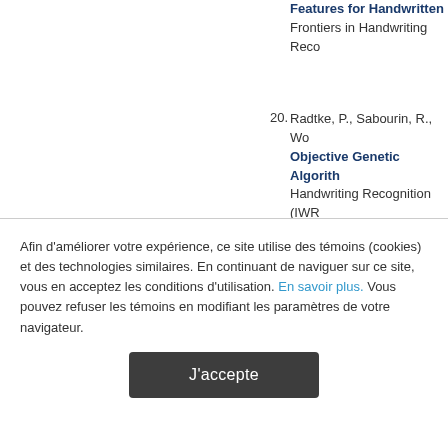Features for Handwritten... Frontiers in Handwriting Reco...
20. Radtke, P., Sabourin, R., Wo... Objective Genetic Algorith... Handwriting Recognition (IWR...
21. Milgram, J., Cheriet, M., Sa... Which One is Better for Ha... Workshop on Frontiers in Han...
22. Vellasques, E., Oliveira, L....
Afin d'améliorer votre expérience, ce site utilise des témoins (cookies) et des technologies similaires. En continuant de naviguer sur ce site, vous en acceptez les conditions d'utilisation. En savoir plus. Vous pouvez refuser les témoins en modifiant les paramètres de votre navigateur.
J'accepte